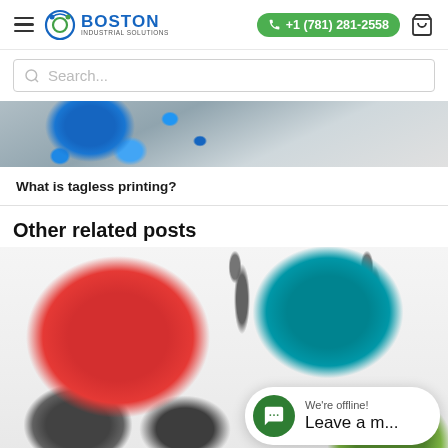Boston Industrial Solutions | +1 (781) 281-2558
Search...
[Figure (photo): Close-up photo of blue dot pattern printed on grey fabric, partially visible at top of page]
What is tagless printing?
Other related posts
[Figure (photo): Photo of colorful silicone items - red item with blue star, teal item, gray carabiner clips, and green item, on white background]
We're offline! Leave a m...